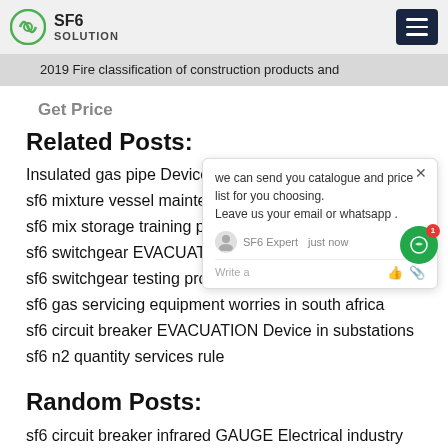SF6 SOLUTION
2019 Fire classification of construction products and
Related Posts:
Insulated gas pipe Device amazon
sf6 mixture vessel maintenance prices
sf6 mix storage training price
sf6 switchgear EVACUATION leak d a
sf6 switchgear testing procedure meter p
sf6 gas servicing equipment worries in south africa
sf6 circuit breaker EVACUATION Device in substations
sf6 n2 quantity services rule
Random Posts:
sf6 circuit breaker infrared GAUGE Electrical industry
sf6 ...